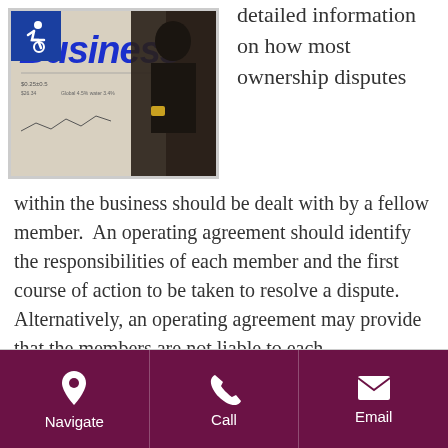[Figure (photo): Photo of hands holding a newspaper with 'Business' headline visible, with a blue accessibility icon overlay in the top-left corner.]
detailed information on how most ownership disputes within the business should be dealt with by a fellow member.  An operating agreement should identify the responsibilities of each member and the first course of action to be taken to resolve a dispute. Alternatively, an operating agreement may provide that the members are not liable to each
Read More
Navigate | Call | Email